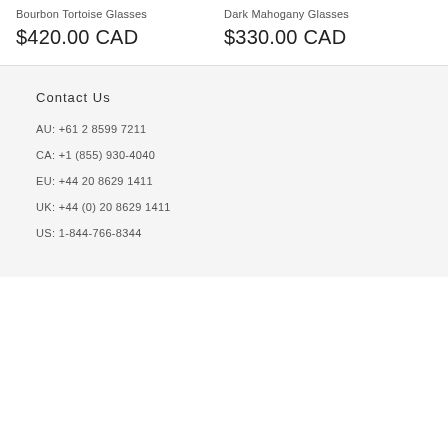Bourbon Tortoise Glasses
$420.00 CAD
Dark Mahogany Glasses
$330.00 CAD
Contact Us
AU: +61 2 8599 7211
CA: +1 (855) 930-4040
EU: +44 20 8629 1411
UK: +44 (0) 20 8629 1411
US: 1-844-766-8344